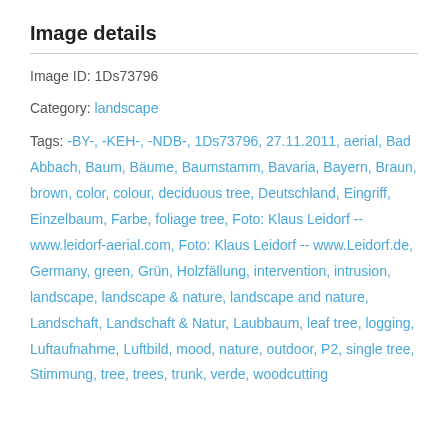Image details
Image ID: 1Ds73796
Category: landscape
Tags: -BY-, -KEH-, -NDB-, 1Ds73796, 27.11.2011, aerial, Bad Abbach, Baum, Bäume, Baumstamm, Bavaria, Bayern, Braun, brown, color, colour, deciduous tree, Deutschland, Eingriff, Einzelbaum, Farbe, foliage tree, Foto: Klaus Leidorf -- www.leidorf-aerial.com, Foto: Klaus Leidorf -- www.Leidorf.de, Germany, green, Grün, Holzfällung, intervention, intrusion, landscape, landscape & nature, landscape and nature, Landschaft, Landschaft & Natur, Laubbaum, leaf tree, logging, Luftaufnahme, Luftbild, mood, nature, outdoor, P2, single tree, Stimmung, tree, trees, trunk, verde, woodcutting